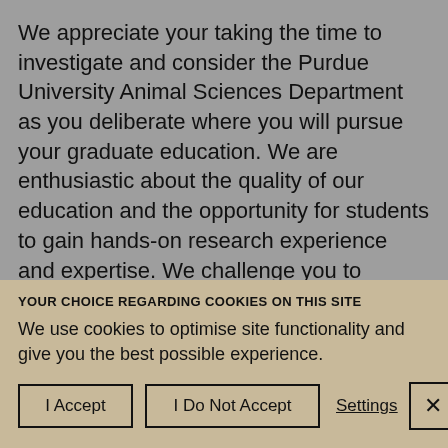We appreciate your taking the time to investigate and consider the Purdue University Animal Sciences Department as you deliberate where you will pursue your graduate education. We are enthusiastic about the quality of our education and the opportunity for students to gain hands-on research experience and expertise. We challenge you to consider furthering your graduate education in the sciences of food-producing animals at Purdue University.
The departmental graduate committee chairman is Dr
YOUR CHOICE REGARDING COOKIES ON THIS SITE
We use cookies to optimise site functionality and give you the best possible experience.